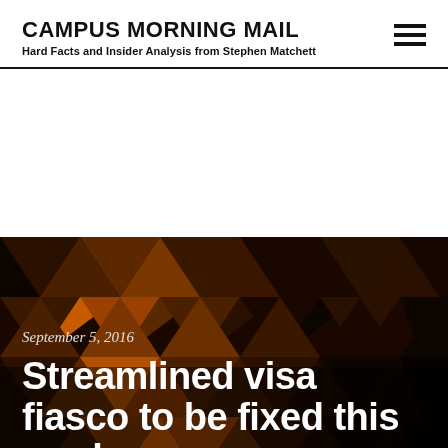CAMPUS MORNING MAIL
Hard Facts and Insider Analysis from Stephen Matchett
[Figure (illustration): Geometric triangular pattern in dark brown, orange, and black tones used as hero background image]
September 5, 2016
Streamlined visa fiasco to be fixed this week